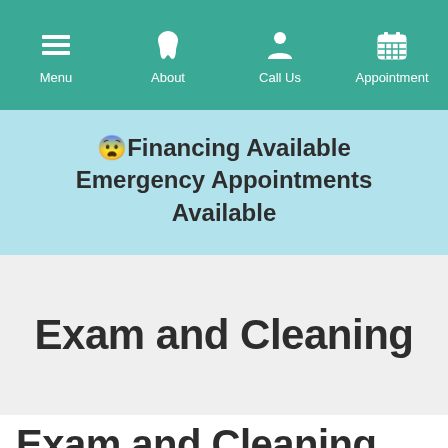Menu | About | Call Us | Appointment
😨Financing Available Emergency Appointments Available
Exam and Cleaning
Exam and Cleaning